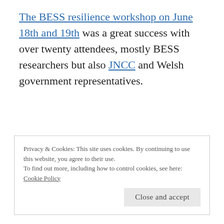The BESS resilience workshop on June 18th and 19th was a great success with over twenty attendees, mostly BESS researchers but also JNCC and Welsh government representatives.
Privacy & Cookies: This site uses cookies. By continuing to use this website, you agree to their use.
To find out more, including how to control cookies, see here:
Cookie Policy